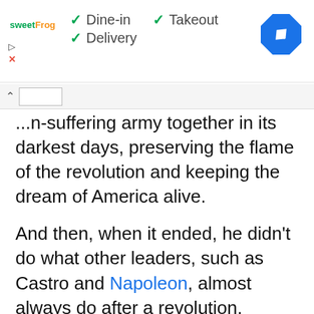[Figure (screenshot): Advertisement banner for sweetFrog with green checkmarks showing Dine-in, Takeout, and Delivery options, and a blue navigation diamond icon on the right.]
search bar with up caret icon
...n-suffering army together in its darkest days, preserving the flame of the revolution and keeping the dream of America alive.
And then, when it ended, he didn't do what other leaders, such as Castro and Napoleon, almost always do after a revolution. Rather than seize power, he voluntarily relinquished it and tried to retire to his farm. Like Cincinnatus, he traded in his sword for a plow without anyone even asking him to do so.